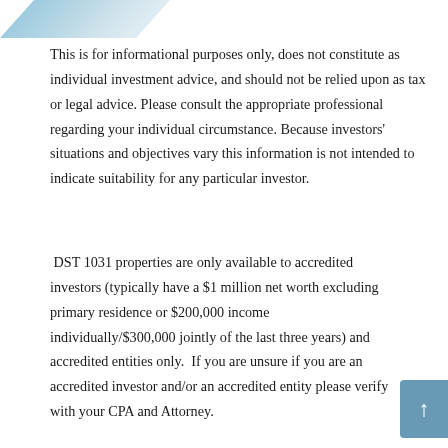[Figure (logo): Partial logo graphic — angled blue/grey shape visible at top left]
This is for informational purposes only, does not constitute as individual investment advice, and should not be relied upon as tax or legal advice. Please consult the appropriate professional regarding your individual circumstance. Because investors' situations and objectives vary this information is not intended to indicate suitability for any particular investor.
DST 1031 properties are only available to accredited investors (typically have a $1 million net worth excluding primary residence or $200,000 income individually/$300,000 jointly of the last three years) and accredited entities only. If you are unsure if you are an accredited investor and/or an accredited entity please verify with your CPA and Attorney.